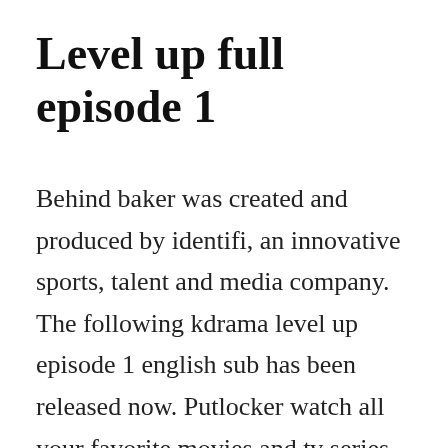Level up full episode 1
Behind baker was created and produced by identifi, an innovative sports, talent and media company. The following kdrama level up episode 1 english sub has been released now. Putlocker watch all your favorite movies and tv series with a simple click. Level up season 1 complete season download torrent tpb. Watch level up 2019 season 1 episode 1 online free trial access. Drama korea level up